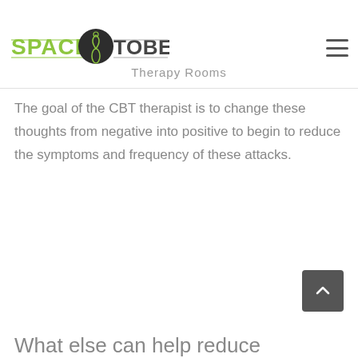[Figure (logo): Space To Be You logo with green text SPACE, circular emblem with fern/spiral icon, and dark text TOBEYOU]
Therapy Rooms
The goal of the CBT therapist is to change these thoughts from negative into positive to begin to reduce the symptoms and frequency of these attacks.
What else can help reduce